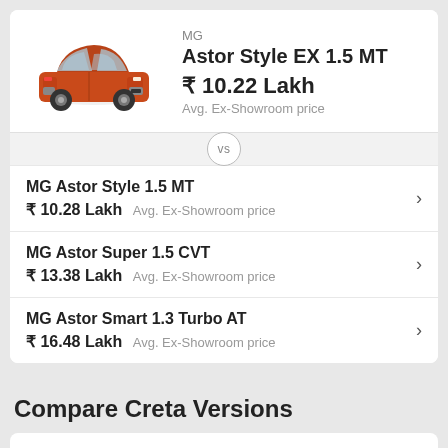[Figure (photo): Orange MG Astor SUV car image]
MG
Astor Style EX 1.5 MT
₹ 10.22 Lakh
Avg. Ex-Showroom price
MG Astor Style 1.5 MT ₹ 10.28 Lakh Avg. Ex-Showroom price
MG Astor Super 1.5 CVT ₹ 13.38 Lakh Avg. Ex-Showroom price
MG Astor Smart 1.3 Turbo AT ₹ 16.48 Lakh Avg. Ex-Showroom price
Compare Creta Versions
[Figure (photo): Dark grey Hyundai Creta car image]
Hyundai
Creta E 1.5 Petrol